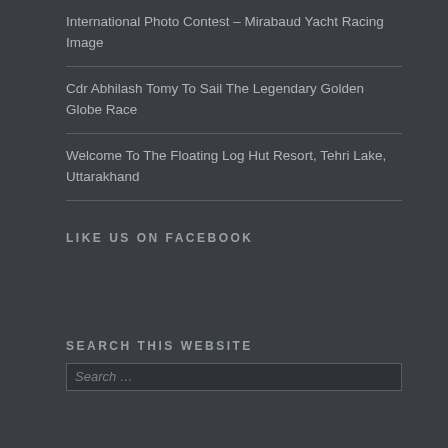International Photo Contest – Mirabaud Yacht Racing Image
Cdr Abhilash Tomy To Sail The Legendary Golden Globe Race
Welcome To The Floating Log Hut Resort, Tehri Lake, Uttarakhand
LIKE US ON FACEBOOK
SEARCH THIS WEBSITE